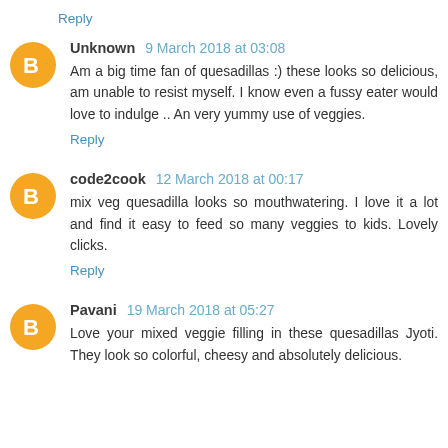Reply
Unknown 9 March 2018 at 03:08
Am a big time fan of quesadillas :) these looks so delicious, am unable to resist myself. I know even a fussy eater would love to indulge .. An very yummy use of veggies.
Reply
code2cook 12 March 2018 at 00:17
mix veg quesadilla looks so mouthwatering. I love it a lot and find it easy to feed so many veggies to kids. Lovely clicks.
Reply
Pavani 19 March 2018 at 05:27
Love your mixed veggie filling in these quesadillas Jyoti. They look so colorful, cheesy and absolutely delicious.